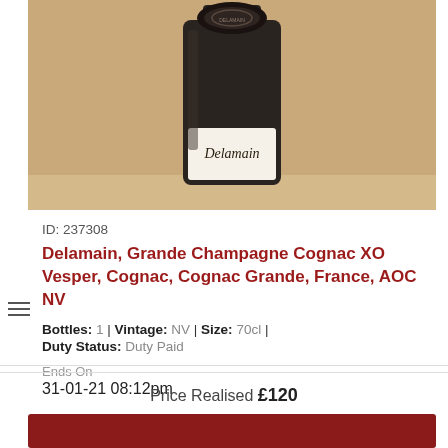[Figure (photo): Photograph of a Delamain Cognac bottle, dark glass with a white label reading 'Delamain', against a beige/tan background]
ID: 237308
Delamain, Grande Champagne Cognac XO Vesper, Cognac, Cognac Grande, France, AOC NV
Bottles: 1 | Vintage: NV | Size: 70cl | Duty Status: Duty Paid
Ends On
31-01-21 08:12pm
Price Realised £120